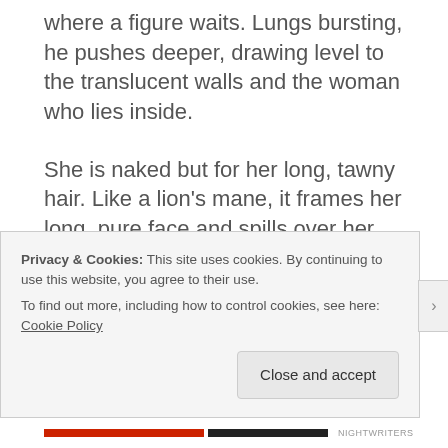where a figure waits. Lungs bursting, he pushes deeper, drawing level to the translucent walls and the woman who lies inside.
She is naked but for her long, tawny hair. Like a lion's mane, it frames her long, pure face and spills over her delicate, perfect shoulders. She looks at peace. Her eyes are closed, but she is smiling.
This is the heart of the iceberg, the man thinks, in the crushing pressure of the deep. So beautiful.
Privacy & Cookies: This site uses cookies. By continuing to use this website, you agree to their use.
To find out more, including how to control cookies, see here: Cookie Policy